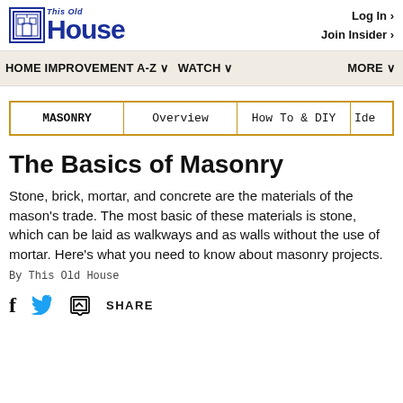This Old House | Log In | Join Insider
HOME IMPROVEMENT A-Z | WATCH | MORE
| MASONRY | Overview | How To & DIY | Ide |
| --- | --- | --- | --- |
The Basics of Masonry
Stone, brick, mortar, and concrete are the materials of the mason's trade. The most basic of these materials is stone, which can be laid as walkways and as walls without the use of mortar. Here's what you need to know about masonry projects.
By This Old House
SHARE